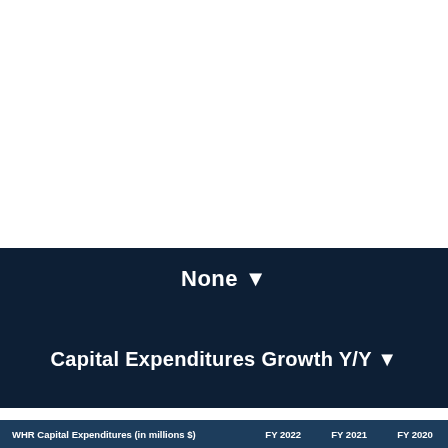None ▼
Capital Expenditures Growth Y/Y ▼
| WHR Capital Expenditures (in millions $) | FY 2022 | FY 2021 | FY 2020 |
| --- | --- | --- | --- |